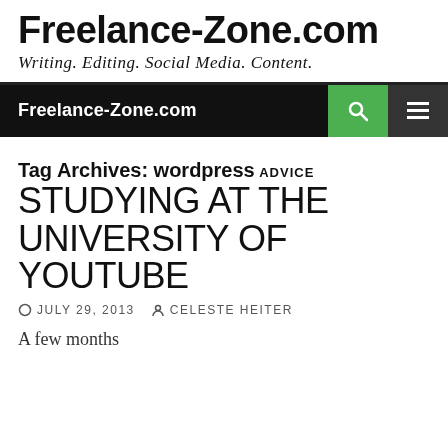Freelance-Zone.com
Writing. Editing. Social Media. Content.
Freelance-Zone.com
Tag Archives: wordpress
ADVICE
STUDYING AT THE UNIVERSITY OF YOUTUBE
JULY 29, 2013   CELESTE HEITER
A few months